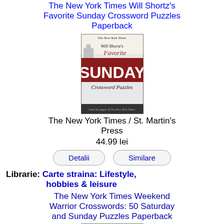The New York Times Will Shortz's Favorite Sunday Crossword Puzzles Paperback
[Figure (illustration): Book cover of The New York Times Will Shortz's Favorite Sunday Crossword Puzzles]
The New York Times / St. Martin's Press
44.99 lei
Detalii
Similare
Librarie: Carte straina: Lifestyle, hobbies & leisure
The New York Times Weekend Warrior Crosswords: 50 Saturday and Sunday Puzzles Paperback
[Figure (illustration): Book cover of The New York Times Weekend Warrior Crosswords]